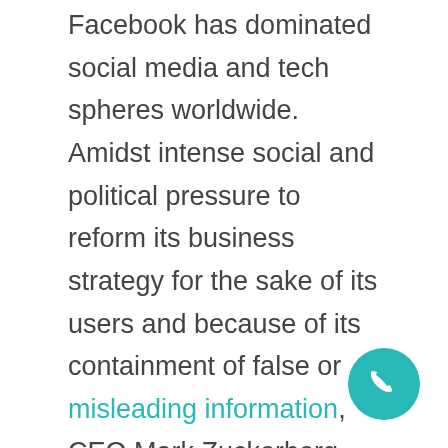Facebook has dominated social media and tech spheres worldwide. Amidst intense social and political pressure to reform its business strategy for the sake of its users and because of its containment of false or misleading information, CEO Mark Zuckerberg has announced Facebook rebranding plans. Such changes have the potential to impact the world of technology in intense and dramatic ways.
As part of a major rebranding that has the potential to change the entire scope of the parent company, Zuckerberg announced the inception of Meta, a name the media magnate